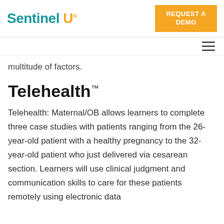Sentinel U® — REQUEST A DEMO
multitude of factors.
Telehealth™
Telehealth: Maternal/OB allows learners to complete three case studies with patients ranging from the 26-year-old patient with a healthy pregnancy to the 32-year-old patient who just delivered via cesarean section. Learners will use clinical judgment and communication skills to care for these patients remotely using electronic data